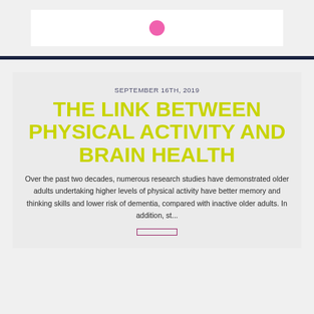[Figure (logo): Logo box with pink circle icon on white background]
SEPTEMBER 16TH, 2019
THE LINK BETWEEN PHYSICAL ACTIVITY AND BRAIN HEALTH
Over the past two decades, numerous research studies have demonstrated older adults undertaking higher levels of physical activity have better memory and thinking skills and lower risk of dementia, compared with inactive older adults. In addition, st...